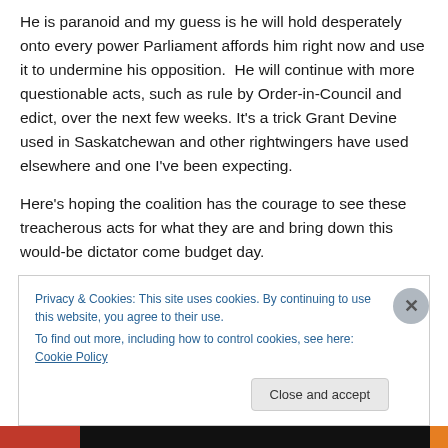He is paranoid and my guess is he will hold desperately onto every power Parliament affords him right now and use it to undermine his opposition.  He will continue with more questionable acts, such as rule by Order-in-Council and edict, over the next few weeks. It's a trick Grant Devine used in Saskatchewan and other rightwingers have used elsewhere and one I've been expecting.
Here's hoping the coalition has the courage to see these treacherous acts for what they are and bring down this would-be dictator come budget day.
Privacy & Cookies: This site uses cookies. By continuing to use this website, you agree to their use.
To find out more, including how to control cookies, see here: Cookie Policy